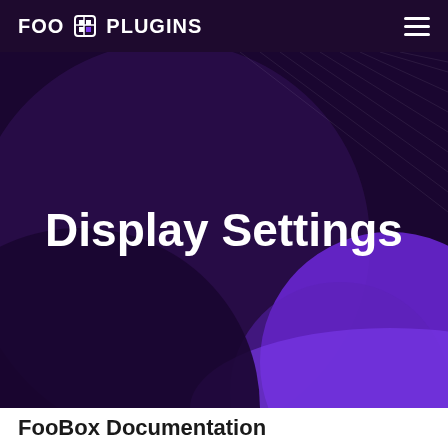FOO PLUGINS
Display Settings
FooBox Documentation